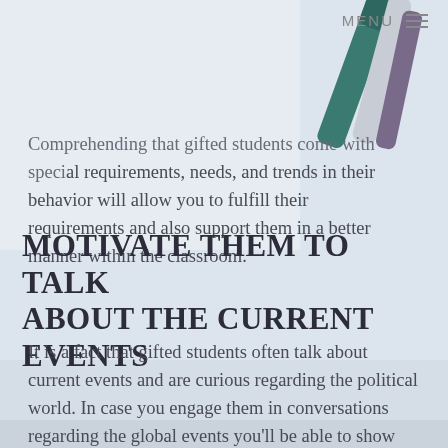MENU ≡
Comprehending that gifted students come with special requirements, needs, and trends in their behavior will allow you to fulfill their requirements and also support them in a better manner within the classroom.
MOTIVATE THEM TO TALK ABOUT THE CURRENT EVENTS
It is a fact that gifted students often talk about current events and are curious regarding the political world. In case you engage them in conversations regarding the global events you'll be able to show them how they can use their special talents for addressing any ongoing problems.